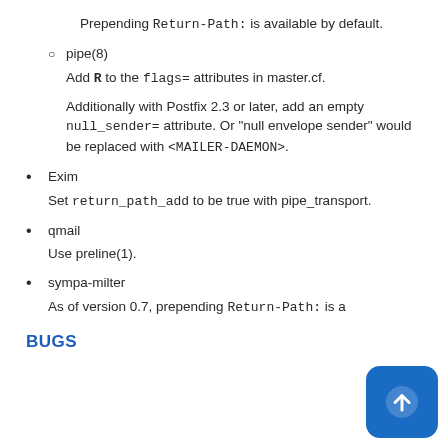Prepending Return-Path: is available by default.
pipe(8)
Add R to the flags= attributes in master.cf.
Additionally with Postfix 2.3 or later, add an empty null_sender= attribute. Or "null envelope sender" would be replaced with <MAILER-DAEMON>.
Exim
Set return_path_add to be true with pipe_transport.
qmail
Use preline(1).
sympa-milter
As of version 0.7, prepending Return-Path: is a
BUGS